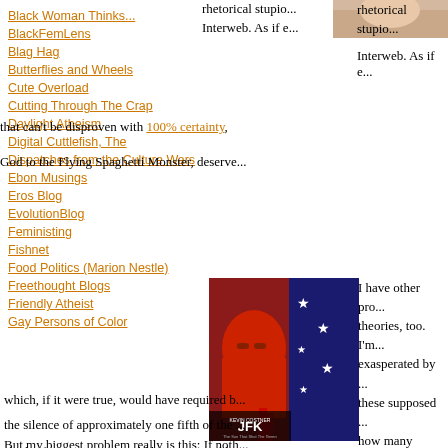Black Woman Thinks...
BlackFemLens
Blag Hag
Butterflies and Wheels
Cute Overload
Cutting Through The Crap
Daylight Atheism
Digital Cuttlefish, The
Dispatches from the Culture Wars
Ebon Musings
Eros Blog
EvolutionBlog
Feministing
Fishnet
Food Politics (Marion Nestle)
Freethought Blogs
Friendly Atheist
Gay Persons of Color
[Figure (photo): Partial image at top right, cropped]
rhetorical stupio... Interweb. As if e... that can't be disproven with 100% certainty,... God to the Flying Spaghetti Monster, deserve...
[Figure (photo): JFK movie poster featuring Kevin Costner]
I have other pro... theories, too. I'm... exasperated by... these supposed... how many peop... the secret... com... lousy most peo... (The conspiracy... "JFK" is my fav... which, if it were true, would have required b... the silence of approximately one fifth of the... But my biggest problem really is this: If noth...